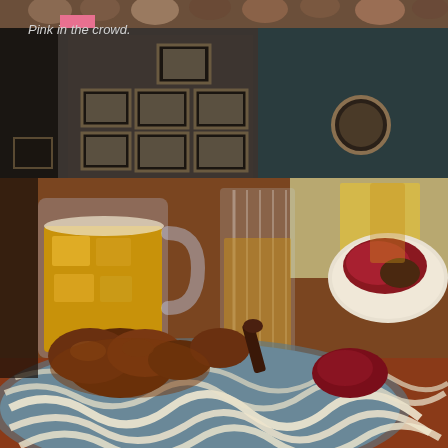[Figure (photo): Top portion of a photo showing a crowd scene with people packed together, partially visible at the top of the page. Below that is an interior of a rustic room with dark walls covered in framed pictures arranged in a grid pattern, a round mirror or clock on the wall, and what appears to be an old radio or speaker. The scene is dimly lit with dark brown and grey tones.]
Pink in the crowd.
[Figure (photo): A close-up food photo showing a plate of noodles topped with braised or stewed meat chunks in a dark sauce, with what appears to be a beetroot or red vegetable salad on the side. In the background are a large glass beer mug filled with beer, a tall clear glass, and another plate of food. The setting appears to be a restaurant table.]